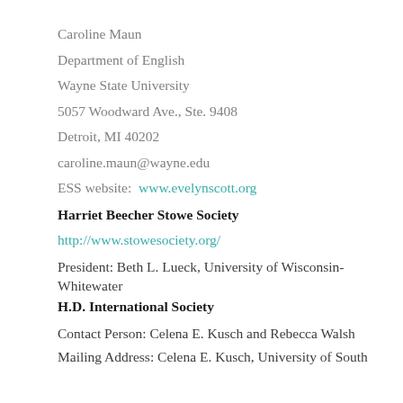Caroline Maun
Department of English
Wayne State University
5057 Woodward Ave., Ste. 9408
Detroit, MI 40202
caroline.maun@wayne.edu
ESS website:  www.evelynscott.org
Harriet Beecher Stowe Society
http://www.stowesociety.org/
President: Beth L. Lueck, University of Wisconsin-Whitewater
H.D. International Society
Contact Person: Celena E. Kusch and Rebecca Walsh
Mailing Address: Celena E. Kusch, University of South